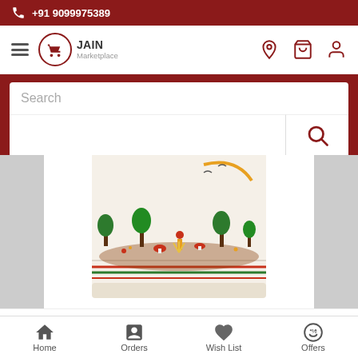+91 9099975389
[Figure (screenshot): Jain Marketplace e-commerce website screenshot showing navigation bar with hamburger menu, Jain Marketplace logo, location pin, cart, and user account icons]
Search
[Figure (photo): Product photo of Satwk's Foxtail Millet 500 gm package - a cream/off-white cloth bag with colorful rural/nature themed print showing trees, animals, and landscape in green, red and yellow]
Satwk's Foxtail Millet - 500 gm
Home  Orders  Wish List  Offers